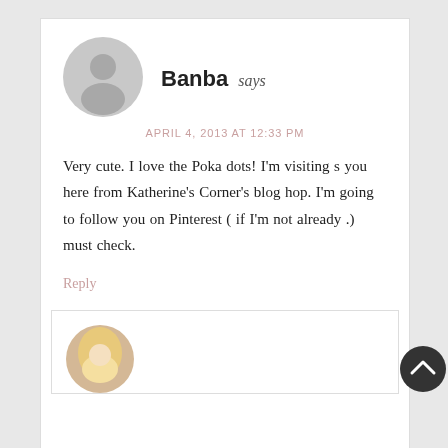[Figure (illustration): Generic grey user avatar circle for commenter Banba]
Banba says
APRIL 4, 2013 AT 12:33 PM
Very cute. I love the Poka dots! I'm visiting s you here from Katherine's Corner's blog hop. I'm going to follow you on Pinterest ( if I'm not already .) must check.
Reply
[Figure (photo): Partial photo of a person with blonde hair, bottom of page nested comment area]
[Figure (illustration): Dark circular scroll-to-top button with upward chevron arrow, bottom right corner]